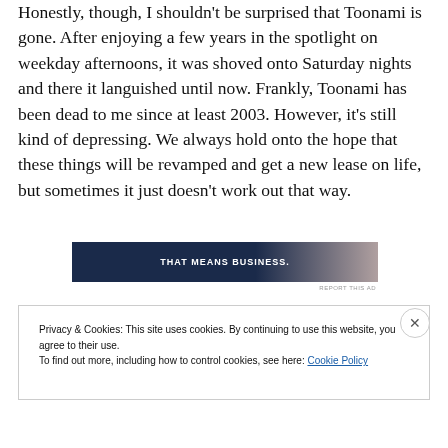Honestly, though, I shouldn't be surprised that Toonami is gone. After enjoying a few years in the spotlight on weekday afternoons, it was shoved onto Saturday nights and there it languished until now. Frankly, Toonami has been dead to me since at least 2003. However, it's still kind of depressing. We always hold onto the hope that these things will be revamped and get a new lease on life, but sometimes it just doesn't work out that way.
[Figure (other): Advertisement banner with dark navy background and text 'THAT MEANS BUSINESS.' with an image of a person on the right side.]
REPORT THIS AD
Privacy & Cookies: This site uses cookies. By continuing to use this website, you agree to their use.
To find out more, including how to control cookies, see here: Cookie Policy
Close and accept